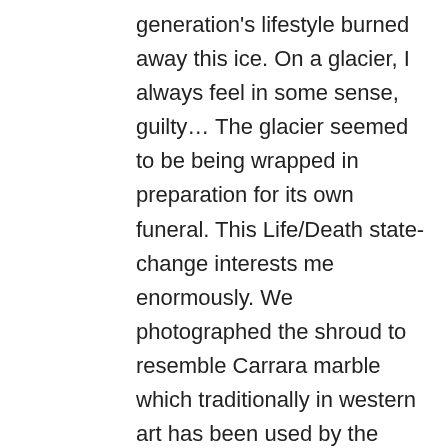generation's lifestyle burned away this ice. On a glacier, I always feel in some sense, guilty… The glacier seemed to be being wrapped in preparation for its own funeral. This Life/Death state-change interests me enormously. We photographed the shroud to resemble Carrara marble which traditionally in western art has been used by the greatest artists to turn a lifeless stone block into the flowing liveliness of Sculpture. The ice of a glacier is made of water but looks and feels like hard stone. With time and the power of the ice, the strongest rocks on earth are plastic, as carve-able as butter. This glacier, which has existed for millennia will die within the lifetime of children born today. None of the physics of my little, suburban life seem to be quite reliable when we get up there at high altitude, at